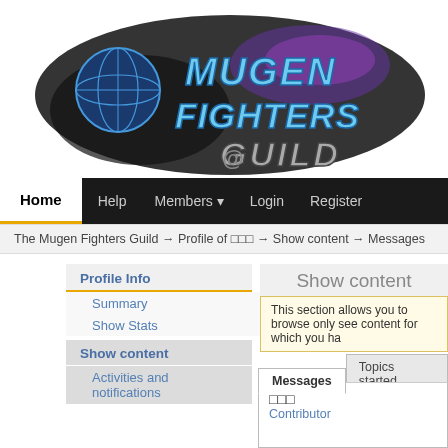[Figure (logo): Mugen Fighters Guild logo with globe and stylized text on dark splatter background]
Home  Help  Members  Login  Register
The Mugen Fighters Guild → Profile of □□□ → Show content → Messages
Profile Info
Summary
Show Stats
Show content
Activities and notifications
Show content
This section allows you to browse only see content for which you ha
Messages  Topics started
□□□
Contributor